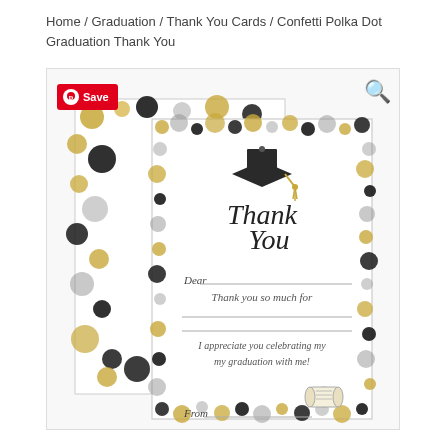Home / Graduation / Thank You Cards / Confetti Polka Dot Graduation Thank You
[Figure (photo): Product image showing two Confetti Polka Dot Graduation Thank You cards with black, gold, and silver polka dots on white background. Cards feature a graduation cap, 'Thank You' in script, fill-in lines for Dear, message, and From fields, and a diploma illustration. A red Pinterest Save button is in the upper left and a magnifying glass search icon in the upper right.]